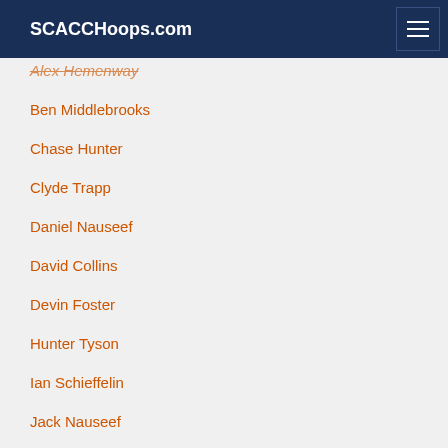SCACCHoops.com
Alex Hemenway
Ben Middlebrooks
Chase Hunter
Clyde Trapp
Daniel Nauseef
David Collins
Devin Foster
Hunter Tyson
Ian Schieffelin
Jack Nauseef
John Newman III
Jonathan Baehre